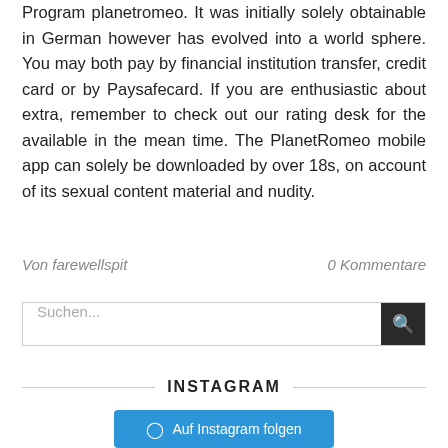Program planetromeo. It was initially solely obtainable in German however has evolved into a world sphere. You may both pay by financial institution transfer, credit card or by Paysafecard. If you are enthusiastic about extra, remember to check out our rating desk for the available in the mean time. The PlanetRomeo mobile app can solely be downloaded by over 18s, on account of its sexual content material and nudity.
Von farewellspit   0 Kommentare
Suchen...
INSTAGRAM
Auf Instagram folgen